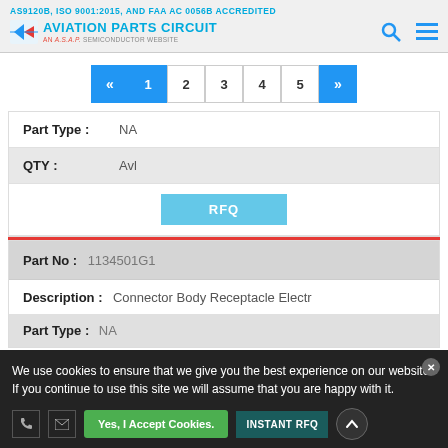AS9120B, ISO 9001:2015, AND FAA AC 0056B ACCREDITED — AVIATION PARTS CIRCUIT — AN A.S.A.P. SEMICONDUCTOR WEBSITE
Pagination: « 1 2 3 4 5 »
| Field | Value |
| --- | --- |
| Part Type : | NA |
| QTY : | Avl |
|  | RFQ |
| Field | Value |
| --- | --- |
| Part No : | 1134501G1 |
| Description : | Connector Body Receptacle Electr |
| Part Type : | NA |
We use cookies to ensure that we give you the best experience on our website. If you continue to use this site we will assume that you are happy with it.
Yes, I Accept Cookies.  INSTANT RFQ